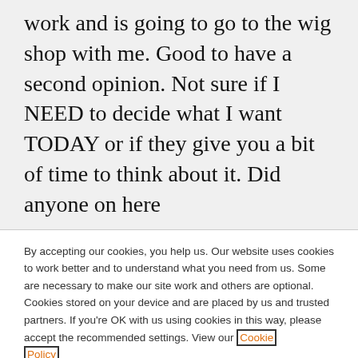work and is going to go to the wig shop with me. Good to have a second opinion. Not sure if I NEED to decide what I want TODAY or if they give you a bit of time to think about it. Did anyone on here
By accepting our cookies, you help us. Our website uses cookies to work better and to understand what you need from us. Some are necessary to make our site work and others are optional. Cookies stored on your device and are placed by us and trusted partners. If you're OK with us using cookies in this way, please accept the recommended settings. View our Cookie Policy
Manage My Settings
Reject All
Accept All Cookies